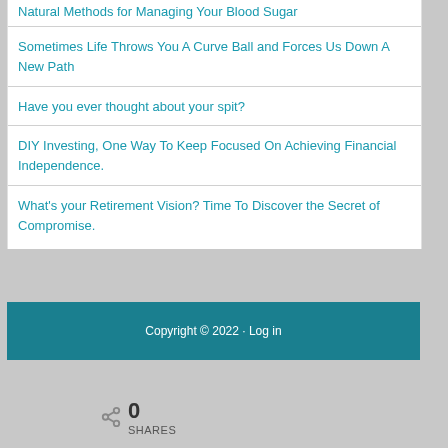Natural Methods for Managing Your Blood Sugar
Sometimes Life Throws You A Curve Ball and Forces Us Down A New Path
Have you ever thought about your spit?
DIY Investing, One Way To Keep Focused On Achieving Financial Independence.
What's your Retirement Vision? Time To Discover the Secret of Compromise.
Copyright © 2022 · Log in
0 SHARES